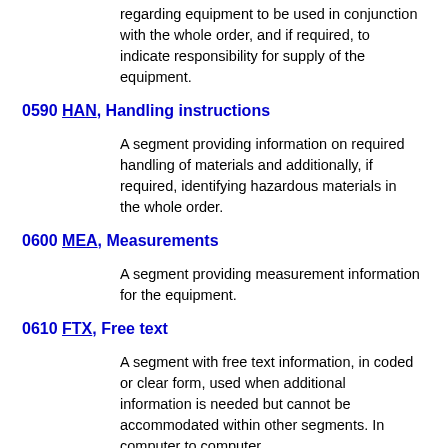regarding equipment to be used in conjunction with the whole order, and if required, to indicate responsibility for supply of the equipment.
0590 HAN, Handling instructions
A segment providing information on required handling of materials and additionally, if required, identifying hazardous materials in the whole order.
0600 MEA, Measurements
A segment providing measurement information for the equipment.
0610 FTX, Free text
A segment with free text information, in coded or clear form, used when additional information is needed but cannot be accommodated within other segments. In computer to computer